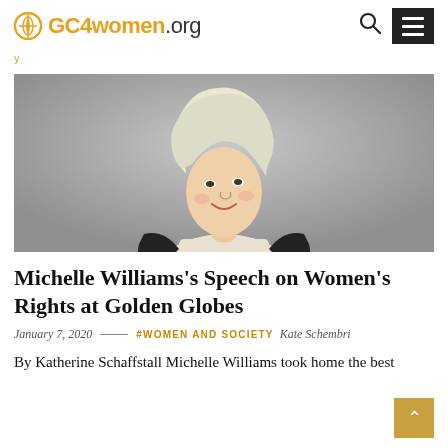GC4women.org
y
[Figure (photo): Portrait photo of Michelle Williams, a blonde woman with short tousled platinum hair, wearing a cream and black outfit, smiling against a grey background.]
Michelle Williams's Speech on Women's Rights at Golden Globes
January 7, 2020  —  #WOMEN AND SOCIETY  Kate Schembri
By Katherine Schaffstall Michelle Williams took home the best